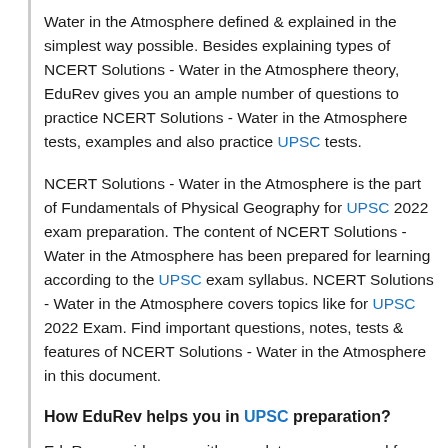Water in the Atmosphere defined & explained in the simplest way possible. Besides explaining types of NCERT Solutions - Water in the Atmosphere theory, EduRev gives you an ample number of questions to practice NCERT Solutions - Water in the Atmosphere tests, examples and also practice UPSC tests.
NCERT Solutions - Water in the Atmosphere is the part of Fundamentals of Physical Geography for UPSC 2022 exam preparation. The content of NCERT Solutions - Water in the Atmosphere has been prepared for learning according to the UPSC exam syllabus. NCERT Solutions - Water in the Atmosphere covers topics like for UPSC 2022 Exam. Find important questions, notes, tests & features of NCERT Solutions - Water in the Atmosphere in this document.
How EduRev helps you in UPSC preparation?
EduRev provides you with complete coverage and for